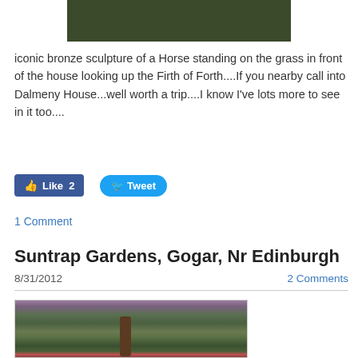[Figure (photo): Dark green outdoor/garden scene at top of page]
iconic bronze sculpture of a Horse standing on the grass in front of the house looking up the Firth of Forth....If you nearby call into Dalmeny House...well worth a trip....I know I've lots more to see in it too....
[Figure (other): Facebook Like button with count 2]
[Figure (other): Twitter Tweet button]
1 Comment
Suntrap Gardens, Gogar, Nr Edinburgh
8/31/2012
2 Comments
[Figure (photo): Garden scene with large tree, green lawn paths and colorful flower borders]